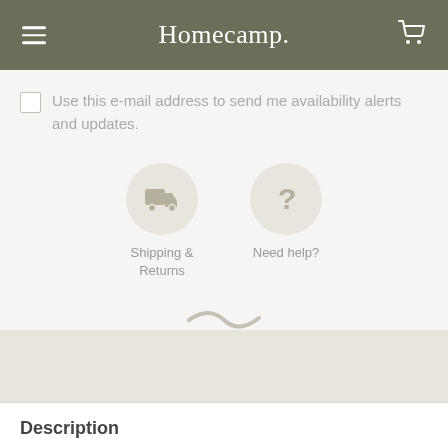Homecamp.
Use this e-mail address to send me availability alerts and updates.
[Figure (illustration): Shipping & Returns icon: a truck icon inside a light gray circle, labeled 'Shipping & Returns']
[Figure (illustration): Need help icon: a question mark inside a light gray circle, labeled 'Need help?']
[Figure (illustration): A small gray swoosh/wave decorative element]
Description
DeWit Spork blades are made from Swedish boro...